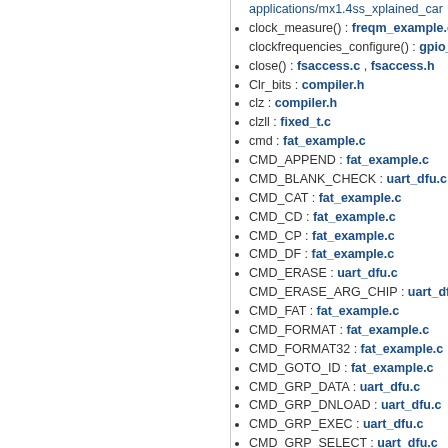applications/mx1.4ss_xplained_car...
clock_measure() : freqm_example.c
clockfrequencies_configure() : gpio_lo...
close() : fsaccess.c , fsaccess.h
Clr_bits : compiler.h
clz : compiler.h
clzll : fixed_t.c
cmd : fat_example.c
CMD_APPEND : fat_example.c
CMD_BLANK_CHECK : uart_dfu.c
CMD_CAT : fat_example.c
CMD_CD : fat_example.c
CMD_CP : fat_example.c
CMD_DF : fat_example.c
CMD_ERASE : uart_dfu.c
CMD_ERASE_ARG_CHIP : uart_dfu...
CMD_FAT : fat_example.c
CMD_FORMAT : fat_example.c
CMD_FORMAT32 : fat_example.c
CMD_GOTO_ID : fat_example.c
CMD_GRP_DATA : uart_dfu.c
CMD_GRP_DNLOAD : uart_dfu.c
CMD_GRP_EXEC : uart_dfu.c
CMD_GRP_SELECT : uart_dfu.c
CMD_GRP_UPLOAD : uart_dfu.c
CMD_HELP : fat_example.c
CMD_ID_OCTET : compiler.h
CMD_LS : fat_example.c
CMD_MKDIR : fat_example.c
CMD_MOUNT : fat_example.c
CMD_MV : fat_example.c